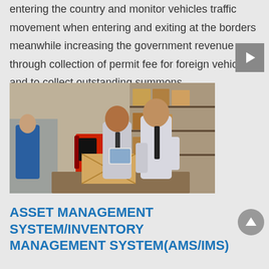entering the country and monitor vehicles traffic movement when entering and exiting at the borders meanwhile increasing the government revenue through collection of permit fee for foreign vehicle and to collect outstanding summons.
[Figure (photo): Two businessmen in shirt and tie reviewing a tablet device in a warehouse, with shelves of boxes and a red forklift in the background, and a worker in blue clothing visible on the left.]
ASSET MANAGEMENT SYSTEM/INVENTORY MANAGEMENT SYSTEM(AMS/IMS)